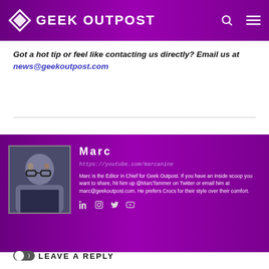GEEK OUTPOST
Got a hot tip or feel like contacting us directly? Email us at news@geekoutpost.com
Marc
https://youtube.com/marcanine
Marc is the Editor in Chief for Geek Outpost. If you have an inside scoop you want to share, hit him up @MarcTammer on Twitter or email him at marc@geekoutpost.com. He prefers Crocs for their style over their comfort.
LEAVE A REPLY